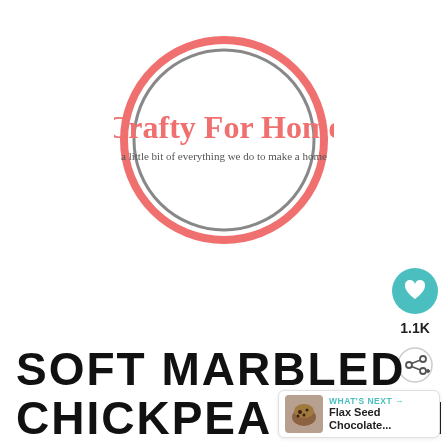[Figure (logo): Crafty For Home logo: coral/salmon colored circle with gray inner ring, cursive coral text 'Crafty For Home' and smaller cursive gray text 'a little bit of everything we do to make a home']
[Figure (infographic): Teal circular heart/like button showing a heart icon, count '1.1K' below, and a share icon below that]
SOFT MARBLED CHICKPEA COOKIE
[Figure (infographic): WHAT'S NEXT arrow label in teal, with a muffin/chocolate photo thumbnail and text 'Flax Seed Chocolate...']